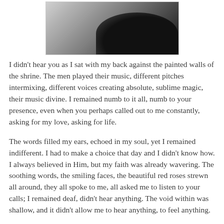[Figure (photo): Partial black and white photograph showing a dark silhouette figure against a light gray background, only the upper portion visible.]
I didn't hear you as I sat with my back against the painted walls of the shrine. The men played their music, different pitches intermixing, different voices creating absolute, sublime magic, their music divine. I remained numb to it all, numb to your presence, even when you perhaps called out to me constantly, asking for my love, asking for life.
The words filled my ears, echoed in my soul, yet I remained indifferent. I had to make a choice that day and I didn't know how. I always believed in Him, but my faith was already wavering. The soothing words, the smiling faces, the beautiful red roses strewn all around, they all spoke to me, all asked me to listen to your calls; I remained deaf, didn't hear anything. The void within was shallow, and it didn't allow me to hear anything, to feel anything.
I walked around looking for a sign, looking for your guidance, looking for an answer. It was all around me to see, but I